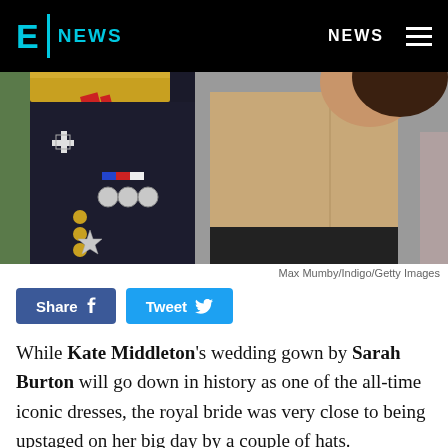E! NEWS — NEWS
[Figure (photo): A man in a dark military uniform with medals and gold epaulettes stands next to a smiling woman in a beige sleeveless top and black skirt. Only their torsos and partial faces are visible.]
Max Mumby/Indigo/Getty Images
Share  Tweet
While Kate Middleton's wedding gown by Sarah Burton will go down in history as one of the all-time iconic dresses, the royal bride was very close to being upstaged on her big day by a couple of hats.